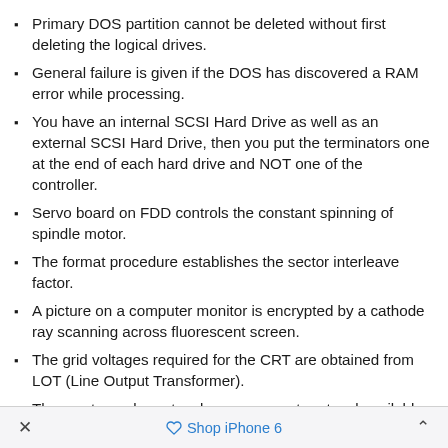Primary DOS partition cannot be deleted without first deleting the logical drives.
General failure is given if the DOS has discovered a RAM error while processing.
You have an internal SCSI Hard Drive as well as an external SCSI Hard Drive, then you put the terminators one at the end of each hard drive and NOT one of the controller.
Servo board on FDD controls the constant spinning of spindle motor.
The format procedure establishes the sector interleave factor.
A picture on a computer monitor is encrypted by a cathode ray scanning across fluorescent screen.
The grid voltages required for the CRT are obtained from LOT (Line Output Transformer).
The most popular network management protocol available in the TCP/IP protocol suite is SNMP